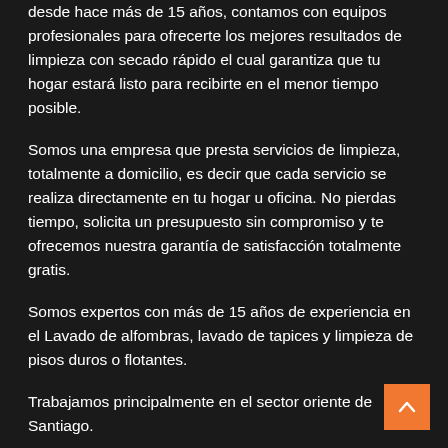desde hace más de 15 años, contamos con equipos profesionales para ofrecerte los mejores resultados de limpieza con secado rápido el cual garantiza que tu hogar estará listo para recibirte en el menor tiempo posible.
Somos una empresa que presta servicios de limpieza, totalmente a domicilio, es decir que cada servicio se realiza directamente en tu hogar u oficina. No pierdas tiempo, solicita un presupuesto sin compromiso y te ofrecemos nuestra garantía de satisfacción totalmente gratis.
Somos expertos con más de 15 años de experiencia en el Lavado de alfombras, lavado de tapices y limpieza de pisos duros o flotantes.
Trabajamos principalmente en el sector oriente de Santiago.
Contando con cobertura en varias comunas como Las Condes, Providencia, Vitacura, La Reina, Ñuñoa y Lo Barnechea